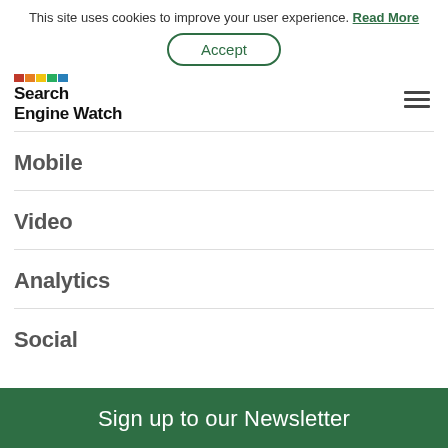This site uses cookies to improve your user experience. Read More
Accept
Search Engine Watch
Mobile
Video
Analytics
Social
Sign up to our Newsletter